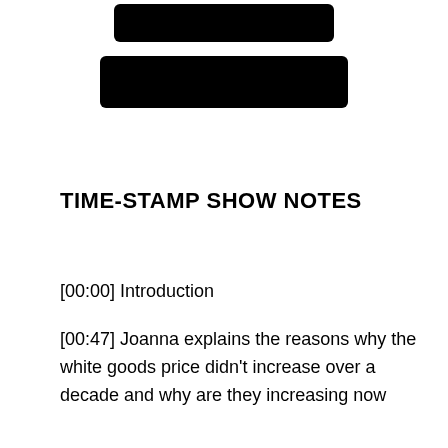[Figure (other): Two redacted black rectangles stacked vertically, centered at top of page]
TIME-STAMP SHOW NOTES
[00:00] Introduction
[00:47] Joanna explains the reasons why the white goods price didn't increase over a decade and why are they increasing now